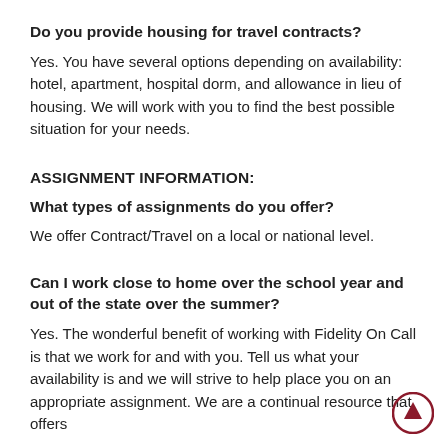Do you provide housing for travel contracts?
Yes. You have several options depending on availability: hotel, apartment, hospital dorm, and allowance in lieu of housing. We will work with you to find the best possible situation for your needs.
ASSIGNMENT INFORMATION:
What types of assignments do you offer?
We offer Contract/Travel on a local or national level.
Can I work close to home over the school year and out of the state over the summer?
Yes. The wonderful benefit of working with Fidelity On Call is that we work for and with you. Tell us what your availability is and we will strive to help place you on an appropriate assignment. We are aontinual resource that offers...